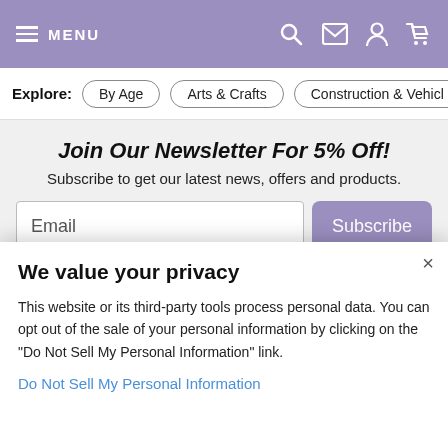MENU
Explore: By Age  Arts & Crafts  Construction & Vehicl…
Join Our Newsletter For 5% Off!
Subscribe to get our latest news, offers and products.
Email [Subscribe button]
Privacy Policy
WHO WE ARE
We value your privacy
This website or its third-party tools process personal data. You can opt out of the sale of your personal information by clicking on the "Do Not Sell My Personal Information" link.
Do Not Sell My Personal Information